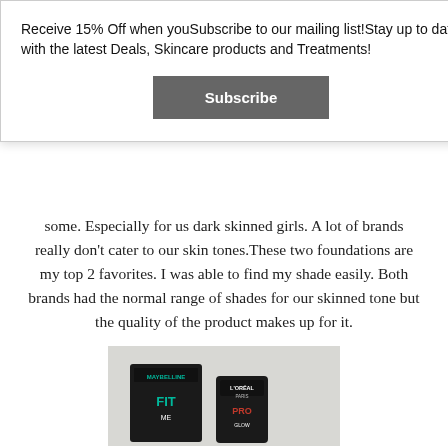Receive 15% Off when youSubscribe to our mailing list!Stay up to date with the latest Deals, Skincare products and Treatments!
Subscribe
some. Especially for us dark skinned girls. A lot of brands really don't cater to our skin tones.These two foundations are my top 2 favorites. I was able to find my shade easily. Both brands had the normal range of shades for our skinned tone but the quality of the product makes up for it.
[Figure (photo): Photo of two foundation products: Maybelline Fit Me and L'Oreal Paris, both in black packaging, placed on a light surface.]